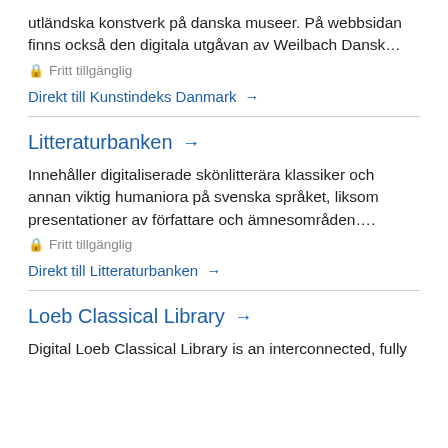utländska konstverk på danska museer. På webbsidan finns också den digitala utgåvan av Weilbach Dansk…
🔒 Fritt tillgänglig
Direkt till Kunstindeks Danmark →
Litteraturbanken →
Innehåller digitaliserade skönlitterära klassiker och annan viktig humaniora på svenska språket, liksom presentationer av författare och ämnesområden….
🔒 Fritt tillgänglig
Direkt till Litteraturbanken →
Loeb Classical Library →
Digital Loeb Classical Library is an interconnected, fully